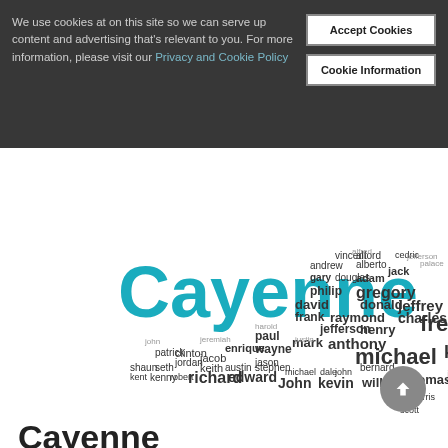We use cookies at on this site so we can serve up content and advertising that's relevant to you. For more information, please visit our Privacy and Cookie Policy
Accept Cookies
Cookie Information
[Figure (infographic): Word cloud in the shape of a dog (Cayenne breed), featuring male names of varying sizes. The largest word in teal is 'Cayenne'. Other prominent names include michael, kenneth, richard, freddie, raymond, john, kevin, william, thomas, edward, jason, daniel, brian, gregory, adam, donald, charles, jeffrey, robert, mark, anthony, paul, wayne, scott, nick, stephen, daniel, philip, frank, david, henry, douglas, andrew, jack, and many more smaller names.]
Cayenne